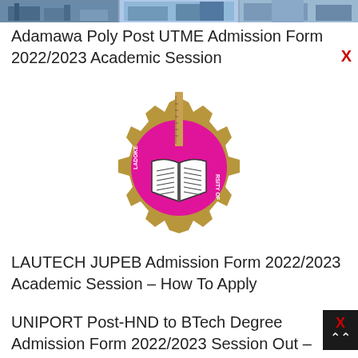[Figure (photo): Top strip showing partial images of buildings/campus scenes]
Adamawa Poly Post UTME Admission Form 2022/2023 Academic Session
[Figure (logo): LAUTECH university logo: a golden gear with a pink circle center containing an open book and a ruler, with text LADOKE and UNIVERSITY OF around the circle]
LAUTECH JUPEB Admission Form 2022/2023 Academic Session – How To Apply
UNIPORT Post-HND to BTech Degree Admission Form 2022/2023 Session Out – Ho